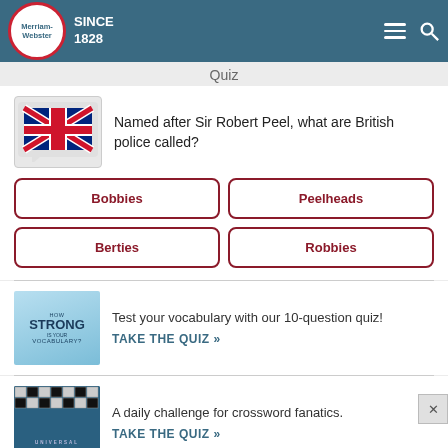Merriam-Webster SINCE 1828
Quiz
[Figure (illustration): UK flag (Union Jack) in a speech bubble shape on grey background, used as quiz question illustration]
Named after Sir Robert Peel, what are British police called?
Bobbies
Peelheads
Berties
Robbies
[Figure (illustration): Blue promotional image reading HOW STRONG IS YOUR VOCABULARY?]
Test your vocabulary with our 10-question quiz!
TAKE THE QUIZ »
[Figure (illustration): Universal Crossword promotional image with crossword grid and green pencil]
A daily challenge for crossword fanatics.
TAKE THE QUIZ »